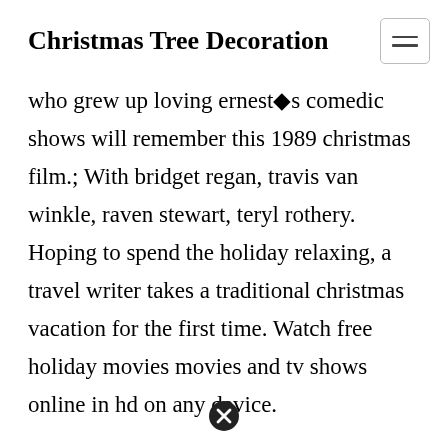Christmas Tree Decoration
who grew up loving ernest�s comedic shows will remember this 1989 christmas film.; With bridget regan, travis van winkle, raven stewart, teryl rothery. Hoping to spend the holiday relaxing, a travel writer takes a traditional christmas vacation for the first time. Watch free holiday movies movies and tv shows online in hd on any device.